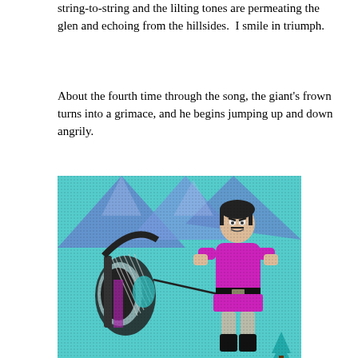string-to-string and the lilting tones are permeating the glen and echoing from the hillsides.  I smile in triumph.
About the fourth time through the song, the giant's frown turns into a grimace, and he begins jumping up and down angrily.
[Figure (illustration): Retro pixel-art style image showing a mountain landscape. On the left side is a harp being played, and on the right is a large figure dressed in a magenta/purple tunic and black boots, appearing to grimace or frown with fists clenched. A small teal pine tree is visible in the lower right. The background is teal/cyan with blue mountain silhouettes.]